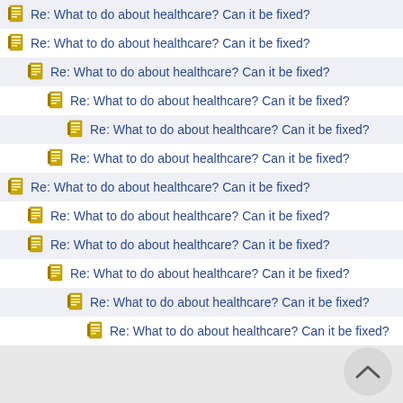Re: What to do about healthcare? Can it be fixed?
Re: What to do about healthcare? Can it be fixed?
Re: What to do about healthcare? Can it be fixed?
Re: What to do about healthcare? Can it be fixed?
Re: What to do about healthcare? Can it be fixed?
Re: What to do about healthcare? Can it be fixed?
Re: What to do about healthcare? Can it be fixed?
Re: What to do about healthcare? Can it be fixed?
Re: What to do about healthcare? Can it be fixed?
Re: What to do about healthcare? Can it be fixed?
Re: What to do about healthcare? Can it be fixed?
Re: What to do about healthcare? Can it be fixed?